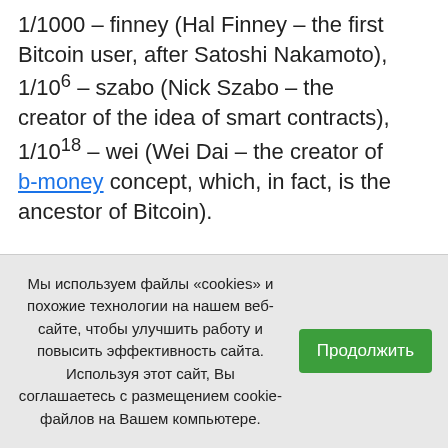1/1000 – finney (Hal Finney – the first Bitcoin user, after Satoshi Nakamoto), 1/106 – szabo (Nick Szabo – the creator of the idea of smart contracts), 1/1018 – wei (Wei Dai – the creator of b-money concept, which, in fact, is the ancestor of Bitcoin).
Ethereum ICO was held in the second half of 2014 and lasted for 42 days, during which 31'591 BTC were collected, which at that time was equivalent to $18'439'086. The ICO had sold
Мы используем файлы «cookies» и похожие технологии на нашем веб-сайте, чтобы улучшить работу и повысить эффективность сайта. Используя этот сайт, Вы соглашаетесь с размещением cookie-файлов на Вашем компьютере.